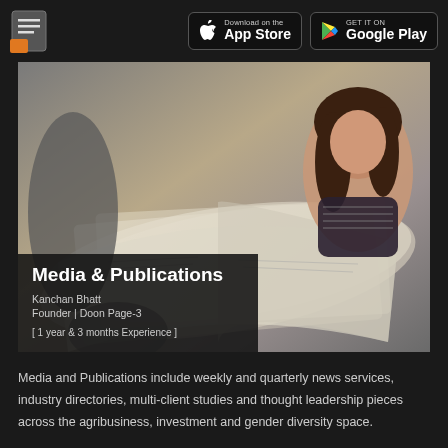Download on the App Store | GET IT ON Google Play
[Figure (photo): Hero image showing people flipping through magazines/publications, with a woman visible in the upper right corner. An overlay text box shows: Media & Publications, Kanchan Bhatt, Founder | Doon Page-3, [ 1 year & 3 months Experience ]]
Media and Publications include weekly and quarterly news services, industry directories, multi-client studies and thought leadership pieces across the agribusiness, investment and gender diversity space.